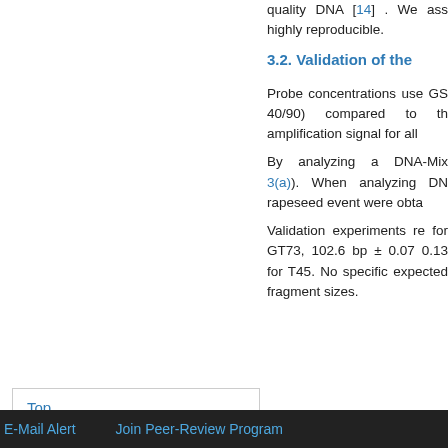quality DNA [14] . We ass highly reproducible.
3.2. Validation of the
Probe concentrations use GS 40/90) compared to th amplification signal for all
By analyzing a DNA-Mix 3(a)). When analyzing DN rapeseed event were obta
Validation experiments re for GT73, 102.6 bp ± 0.07 0.13 for T45. No specific expected fragment sizes.
Top
ABSTRACT
Introduction
Material and Methods
Results
Discussion
E-Mail Alert    Join Peer-Review Program